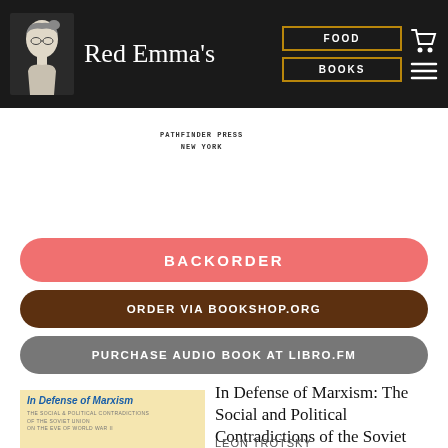Red Emma's
[Figure (logo): Red Emma's logo with stylized portrait]
FOOD
BOOKS
[Figure (logo): Pathfinder Press New York publisher logo]
BACKORDER
ORDER VIA BOOKSHOP.ORG
PURCHASE AUDIO BOOK AT LIBRO.FM
[Figure (illustration): Cover of 'In Defense of Marxism' book with cream background and blue title text]
In Defense of Marxism: The Social and Political Contradictions of the Soviet Union
LEON TROTSKY